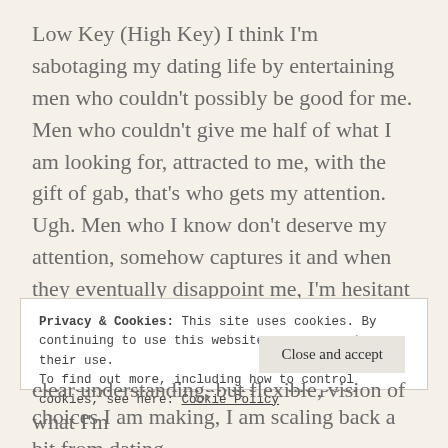Low Key (High Key) I think I'm sabotaging my dating life by entertaining men who couldn't possibly be good for me. Men who couldn't give me half of what I am looking for, attracted to me, with the gift of gab, that's who gets my attention. Ugh. Men who I know don't deserve my attention, somehow captures it and when they eventually disappoint me, I'm hesitant to cut them off. Double Ugh. I'm sadden to know I'm bringing these horrid habits to a new city. Since I'm aware of the poor choices I am making, I am scaling back a bit from dating.
Privacy & Cookies: This site uses cookies. By continuing to use this website, you agree to their use.
To find out more, including how to control cookies, see here: Cookie Policy
clear understanding, but flexible, vision of what I'm